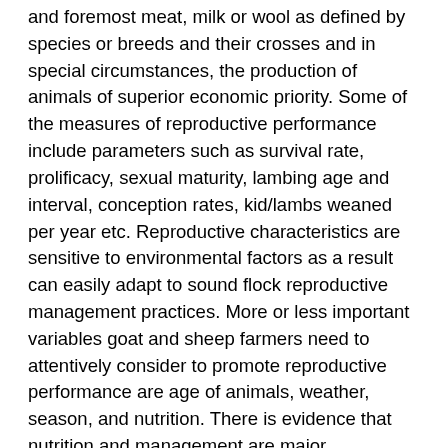and foremost meat, milk or wool as defined by species or breeds and their crosses and in special circumstances, the production of animals of superior economic priority. Some of the measures of reproductive performance include parameters such as survival rate, prolificacy, sexual maturity, lambing age and interval, conception rates, kid/lambs weaned per year etc. Reproductive characteristics are sensitive to environmental factors as a result can easily adapt to sound flock reproductive management practices. More or less important variables goat and sheep farmers need to attentively consider to promote reproductive performance are age of animals, weather, season, and nutrition. There is evidence that nutrition and management are major determinants of kids'/lambs survival rates, while genetic has been a dominant factor controlling prolificacy. Regardless of the fact that genetics of animals is important in goat and sheep reproduction, reproductive traits are lowly heritable as a result any attempt to genetically improve reproductive efficiency becomes slow and difficult. This entails reproductive